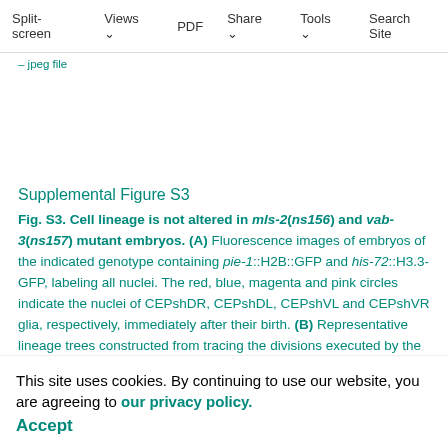Split-screen  Views  PDF  Share  Tools  Search Site
ventral commissure image reproduced with permission. Shown by White et al. (White et al., 1986). Green, CEPshVL/R glia process; blue, AWCL/R neurons; purple, ASEL/R neurons, ADFL/R neurons. - jpeg file
Supplemental Figure S3
Fig. S3. Cell lineage is not altered in mls-2(ns156) and vab-3(ns157) mutant embryos. (A) Fluorescence images of embryos of the indicated genotype containing pie-1::H2B::GFP and his-72::H3.3-GFP, labeling all nuclei. The red, blue, magenta and pink circles indicate the nuclei of CEPshDR, CEPshDL, CEPshVL and CEPshVR glia, respectively, immediately after their birth. (B) Representative lineage trees constructed from tracing the divisions executed by the ABarpa, ABplpaa and ABprpaa precursor cells and their progeny in wild-type (i, iv and vii, respectively), mls-2(ns156) (ii, v and vii, respectively), and vab-3(ns157) (iii, vi and ix, respectively) animals. Note that all three genotypes give rise to essentially identical lineage trees.
This site uses cookies. By continuing to use our website, you are agreeing to our privacy policy. Accept